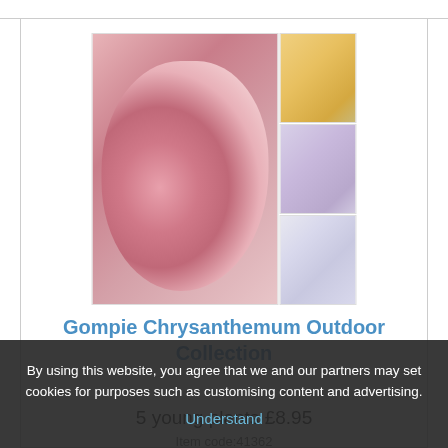[Figure (photo): Collage of chrysanthemum flowers: large pink/red blooms on left, smaller yellow, purple, white, and lavender blooms on right side]
Gompie Chrysanthemum Outdoor Collection
5 young plants £8.95
Item code:41362
Sorry, now sold out
By using this website, you agree that we and our partners may set cookies for purposes such as customising content and advertising.  Understand